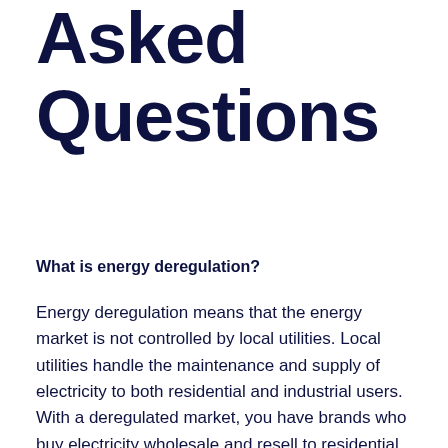Asked Questions
What is energy deregulation?
Energy deregulation means that the energy market is not controlled by local utilities. Local utilities handle the maintenance and supply of electricity to both residential and industrial users. With a deregulated market, you have brands who buy electricity wholesale and resell to residential and industrial customers like you.